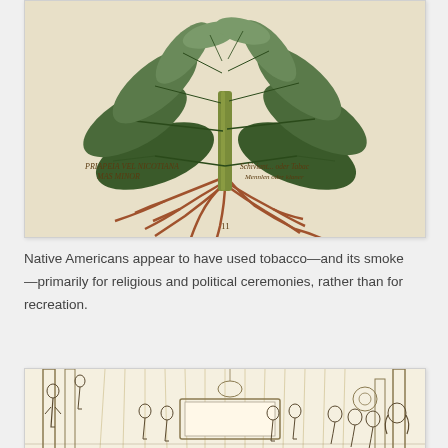[Figure (illustration): Historical botanical illustration of a tobacco plant (Priapeia vel Nicotiana Mas Minor / Schiviant... oder Tabac...) showing large leaves, stem, and root system with Latin and German labels.]
Native Americans appear to have used tobacco—and its smoke—primarily for religious and political ceremonies, rather than for recreation.
[Figure (illustration): Historical black and white engraving depicting a group of people in an indoor scene, possibly a ceremony or gathering.]